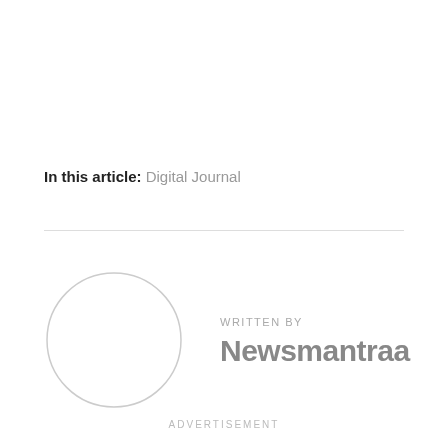In this article: Digital Journal
[Figure (illustration): Circular author avatar placeholder, light gray outlined circle with white fill]
WRITTEN BY
Newsmantraa
ADVERTISEMENT